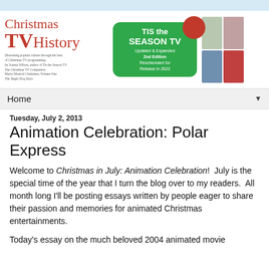[Figure (logo): Christmas TV History website header logo with red text and tagline, central green promo box reading TIS the SEASON TV Updated & Expanded 2nd Edition Rescheduled for Release in 2022, and four small book/DVD cover images on the right]
Home ▼
Tuesday, July 2, 2013
Animation Celebration: Polar Express
Welcome to Christmas in July: Animation Celebration!  July is the special time of the year that I turn the blog over to my readers.  All month long I'll be posting essays written by people eager to share their passion and memories for animated Christmas entertainments.
Today's essay on the much beloved 2004 animated movie